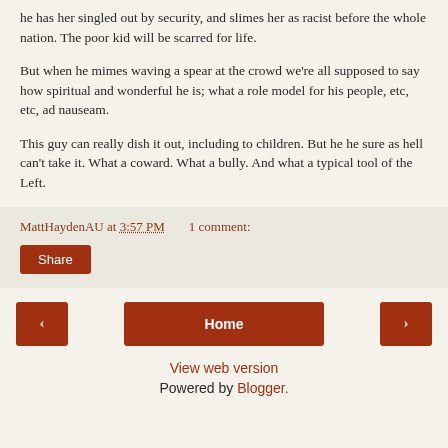he has her singled out by security, and slimes her as racist before the whole nation. The poor kid will be scarred for life.
But when he mimes waving a spear at the crowd we're all supposed to say how spiritual and wonderful he is; what a role model for his people, etc, etc, ad nauseam.
This guy can really dish it out, including to children. But he he sure as hell can't take it. What a coward. What a bully. And what a typical tool of the Left.
MattHaydenAU at 3:57 PM   1 comment:
Share
View web version
Powered by Blogger.